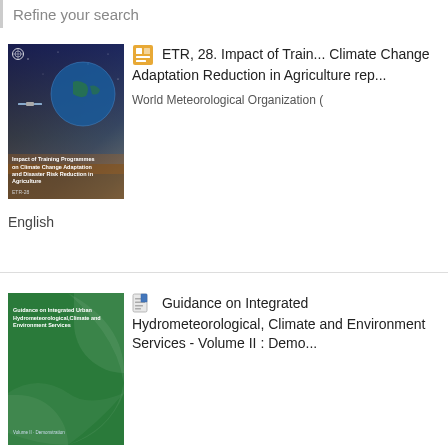Refine your search
[Figure (illustration): Book cover: Impact of Training Programmes on Climate Change Adaptation and Disaster Risk Reduction in Agriculture. Dark blue space/earth imagery.]
ETR, 28. Impact of Training on Climate Change Adaptation and Disaster Risk Reduction in Agriculture repo...
World Meteorological Organization (
English
[Figure (illustration): Book cover: Guidance on Integrated Urban Hydrometeorological, Climate and Environment Services - Volume II. Green cover.]
Guidance on Integrated Hydrometeorological, Climate and Environment Services - Volume II : Demo...